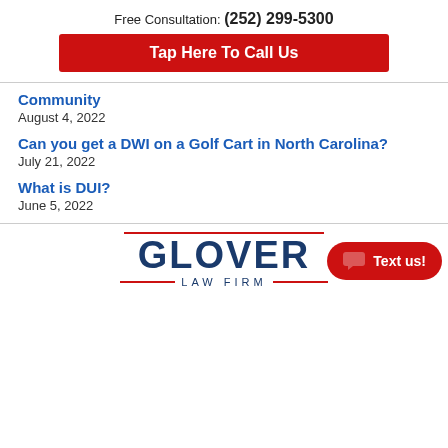Free Consultation: (252) 299-5300
Tap Here To Call Us
Community
August 4, 2022
Can you get a DWI on a Golf Cart in North Carolina?
July 21, 2022
What is DUI?
June 5, 2022
[Figure (logo): Glover Law Firm logo with red lines above and below 'LAW FIRM' text]
Text us!